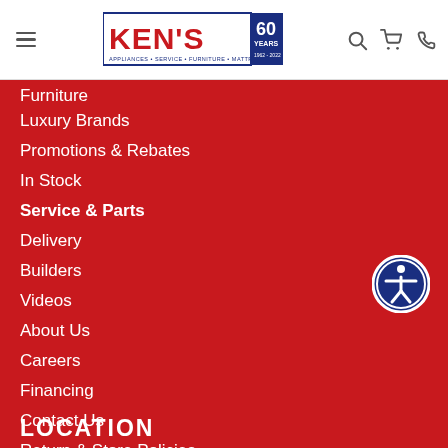[Figure (logo): Ken's Appliances 60 Years logo with text: APPLIANCES · SERVICE · FURNITURE · MATTRESSES, 1962-2022]
Furniture
Luxury Brands
Promotions & Rebates
In Stock
Service & Parts
Delivery
Builders
Videos
About Us
Careers
Financing
Contact Us
Return & Store Policies
LOCATION
[Figure (illustration): Accessibility/wheelchair icon button — white figure on dark blue circle with white ring]